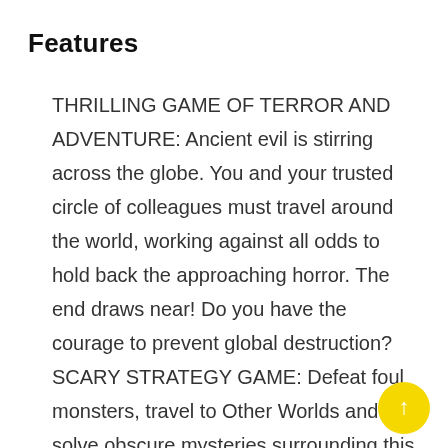Features
THRILLING GAME OF TERROR AND ADVENTURE: Ancient evil is stirring across the globe. You and your trusted circle of colleagues must travel around the world, working against all odds to hold back the approaching horror. The end draws near! Do you have the courage to prevent global destruction? SCARY STRATEGY GAME: Defeat foul monsters, travel to Other Worlds and solve obscure mysteries surrounding this